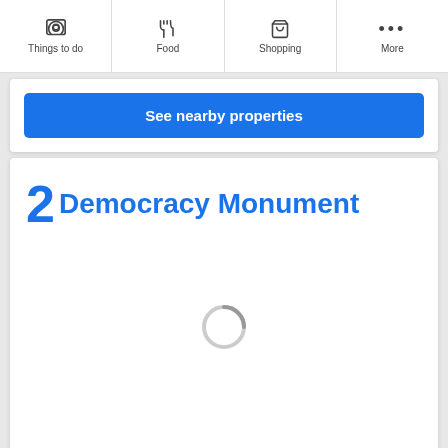Things to do | Food | Shopping | More
See nearby properties
2 Democracy Monument